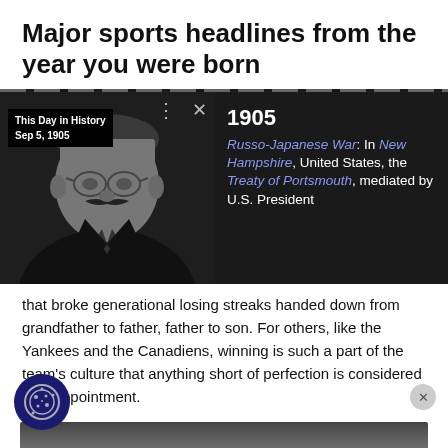Major sports headlines from the year you were born
[Figure (screenshot): A screenshot showing a 'This Day in History Sep 5, 1905' overlay on a black-and-white photo of Theodore Roosevelt. Beside it, sidebar text reads: '1905 Russo-Japanese War: In New Hampshire, United States, the Treaty of Portsmouth, mediated by U.S. President']
that broke generational losing streaks handed down from grandfather to father, father to son. For others, like the Yankees and the Canadiens, winning is such a part of the team's culture that anything short of perfection is considered a disappointment.
[Figure (photo): Partial image of a person in black and white, bottom portion of the page]